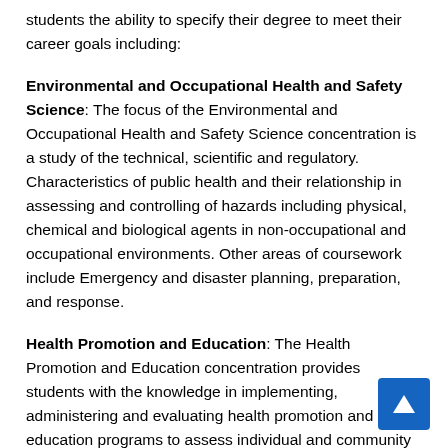students the ability to specify their degree to meet their career goals including:
Environmental and Occupational Health and Safety Science
The focus of the Environmental and Occupational Health and Safety Science concentration is a study of the technical, scientific and regulatory. Characteristics of public health and their relationship in assessing and controlling of hazards including physical, chemical and biological agents in non-occupational and occupational environments. Other areas of coursework include Emergency and disaster planning, preparation, and response.
Health Promotion and Education
The Health Promotion and Education concentration provides students with the knowledge in implementing, administering and evaluating health promotion and education programs to assess individual and community needs. Students in the program are prepared for careers in planning, health promotion, health education, disease prevention, and social action. Graduates enter careers in business, non-profit and governmental agencies at the local